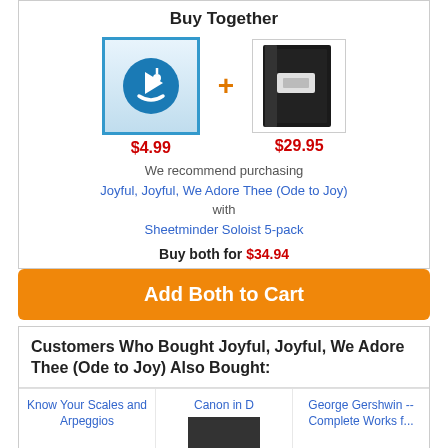Buy Together
[Figure (illustration): Music download icon with blue circle and musical note, price $4.99, and a black notebook/binder product, price $29.95, shown side by side with a plus sign between them]
We recommend purchasing Joyful, Joyful, We Adore Thee (Ode to Joy) with Sheetminder Soloist 5-pack
Buy both for $34.94
Add Both to Cart
Customers Who Bought Joyful, Joyful, We Adore Thee (Ode to Joy) Also Bought:
Know Your Scales and Arpeggios
Canon in D
George Gershwin -- Complete Works f...